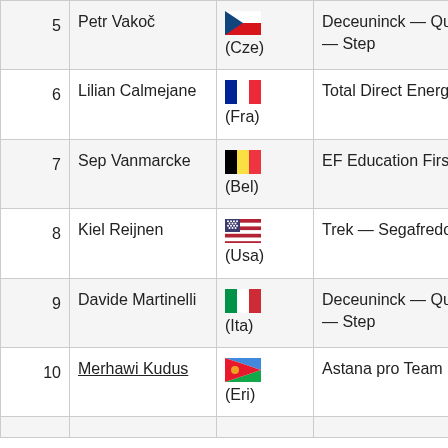| # | Name | Country | Team |  |
| --- | --- | --- | --- | --- |
| 5 | Petr Vakoč | (Cze) | Deceuninck — Quick — Step |  |
| 6 | Lilian Calmejane | (Fra) | Total Direct Energie |  |
| 7 | Sep Vanmarcke | (Bel) | EF Education First |  |
| 8 | Kiel Reijnen | (Usa) | Trek — Segafredo |  |
| 9 | Davide Martinelli | (Ita) | Deceuninck — Quick — Step |  |
| 10 | Merhawi Kudus | (Eri) | Astana pro Team |  |